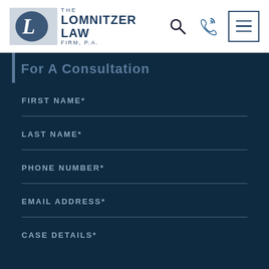[Figure (logo): The Lomnitzer Law Firm, P.A. logo with stylized L mark]
For A Consultation
FIRST NAME*
LAST NAME*
PHONE NUMBER*
EMAIL ADDRESS*
CASE DETAILS*